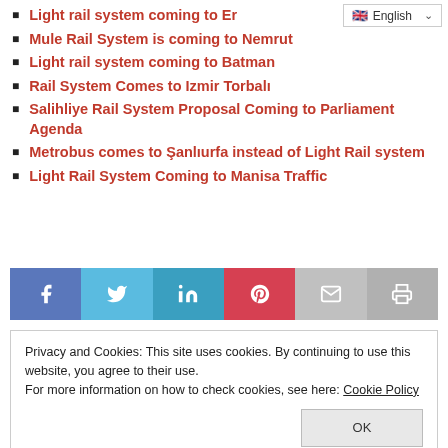Light rail system coming to Er…
Mule Rail System is coming to Nemrut
Light rail system coming to Batman
Rail System Comes to Izmir Torbalı
Salihliye Rail System Proposal Coming to Parliament Agenda
Metrobus comes to Şanlıurfa instead of Light Rail system
Light Rail System Coming to Manisa Traffic
[Figure (infographic): Social share bar with Facebook, Twitter, LinkedIn, Pinterest, email, and print buttons]
Privacy and Cookies: This site uses cookies. By continuing to use this website, you agree to their use. For more information on how to check cookies, see here: Cookie Policy OK